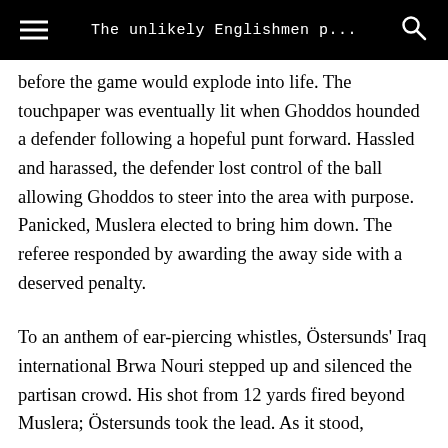The unlikely Englishmen p…
before the game would explode into life. The touchpaper was eventually lit when Ghoddos hounded a defender following a hopeful punt forward. Hassled and harassed, the defender lost control of the ball allowing Ghoddos to steer into the area with purpose. Panicked, Muslera elected to bring him down. The referee responded by awarding the away side with a deserved penalty.
To an anthem of ear-piercing whistles, Östersunds' Iraq international Brwa Nouri stepped up and silenced the partisan crowd. His shot from 12 yards fired beyond Muslera; Östersunds took the lead. As it stood,